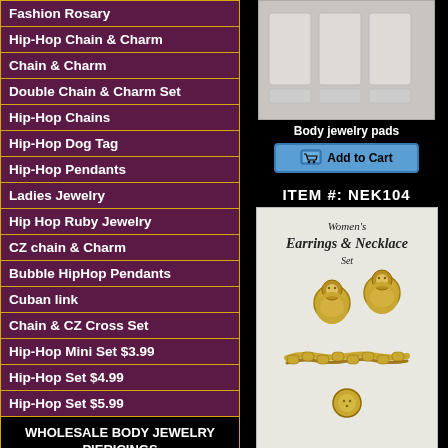Fashion Rosary
Hip-Hop Chain & Charm
Chain & Charm
Double Chain & Charm Set
Hip-Hop Chains
Hip-Hop Dog Tag
Hip-Hop Pendants
Ladies Jewelry
Hip Hop Ruby Jewelry
CZ chain & Charm
Bubble HipHop Pendants
Cuban link
Chain & CZ Cross Set
Hip-Hop Mini Set $3.99
Hip-Hop Set $4.99
Hip-Hop Set $5.99
WHOLESALE BODY JEWELRY PIERICINGS
[Figure (photo): Body jewelry pads - grey padded display trays]
Body jewelry pads
Add to Cart
ITEM #: NEK104
[Figure (photo): Women's Earrings & Necklace Set - gold tone earrings and chain necklace]